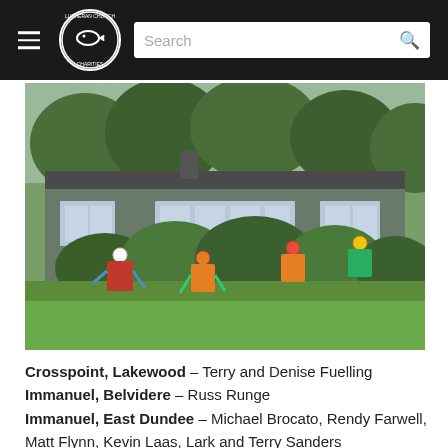Lutheran Church Charities — navigation bar with search
[Figure (photo): Volunteers in safety vests and hard hats clearing overgrown bushes and shrubs in front of a ranch-style house with lush green lawn.]
Crosspoint, Lakewood – Terry and Denise Fuelling
Immanuel, Belvidere – Russ Runge
Immanuel, East Dundee – Michael Brocato, Rendy Farwell, Matt Flynn, Kevin Laas, Lark and Terry Sanders